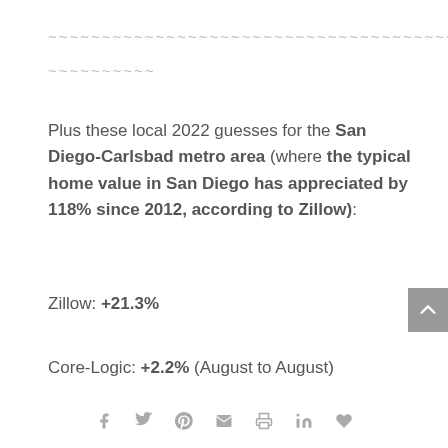~~~~~~~~~~~~~~~~~~~~~~~~~~~~~~~~~~~~~~~~~~~~~~~~
~~~~~~~~~~
Plus these local 2022 guesses for the San Diego-Carlsbad metro area (where the typical home value in San Diego has appreciated by 118% since 2012, according to Zillow):
Zillow: +21.3%
Core-Logic: +2.2% (August to August)